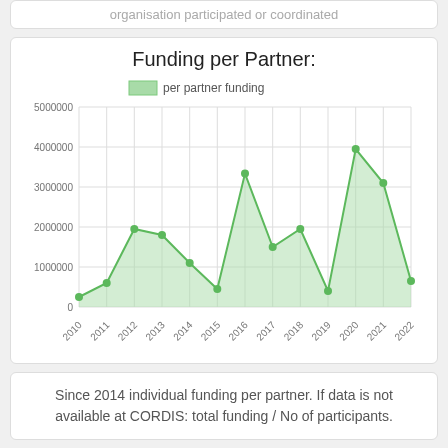organisation participated or coordinated
[Figure (line-chart): Funding per Partner:]
Since 2014 individual funding per partner. If data is not available at CORDIS: total funding / No of participants.
Projects: